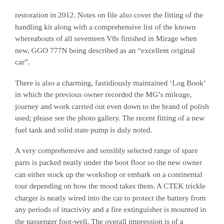restoration in 2012. Notes on file also cover the fitting of the handling kit along with a comprehensive list of the known whereabouts of all seventeen V8s finished in Mirage when new, GGO 777N being described as an “excellent original car”.
There is also a charming, fastidiously maintained ‘Log Book’ in which the previous owner recorded the MG’s mileage, journey and work carried out even down to the brand of polish used; please see the photo gallery. The recent fitting of a new fuel tank and solid state pump is duly noted.
A very comprehensive and sensibly selected range of spare parts is packed neatly under the boot floor so the new owner can either stock up the workshop or embark on a continental tour depending on how the mood takes them. A CTEK trickle charger is neatly wired into the car to protect the battery from any periods of inactivity and a fire extinguisher is mounted in the passenger foot-well. The overall impression is of a sensible approach to the active use and diligent maintenance of the car.
Having owned the MG since September 2014, the previous